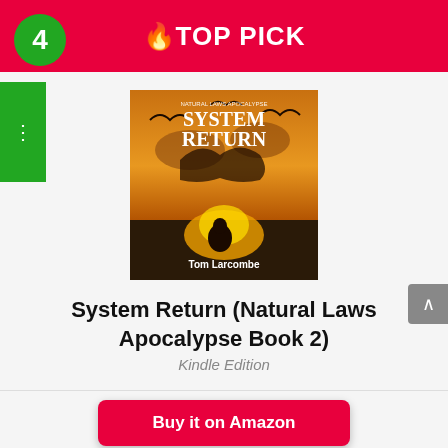🔥TOP PICK
4
[Figure (illustration): Book cover for 'System Return' (Natural Laws Apocalypse) by Tom Larcombe, featuring fantasy artwork with fire, a crouching figure, and flying creatures against an orange-red sky]
System Return (Natural Laws Apocalypse Book 2)
Kindle Edition
Buy it on Amazon